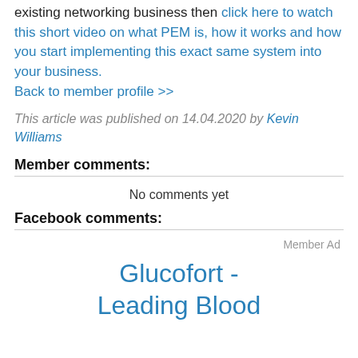existing networking business then click here to watch this short video on what PEM is, how it works and how you start implementing this exact same system into your business.
Back to member profile >>
This article was published on 14.04.2020 by Kevin Williams
Member comments:
No comments yet
Facebook comments:
Member Ad
Glucofort - Leading Blood